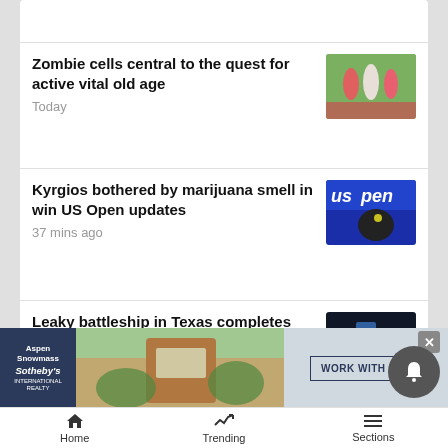Zombie cells central to the quest for active vital old age
Today
Kyrgios bothered by marijuana smell in win US Open updates
37 mins ago
Leaky battleship in Texas completes trip for $35M repairs
2 hours ago
Gorbachev's funeral burial will
[Figure (screenshot): Advertisement banner for Aspen Snowmass Sotheby's International Realty with 'WORK WITH US' button]
Home  Trending  Sections